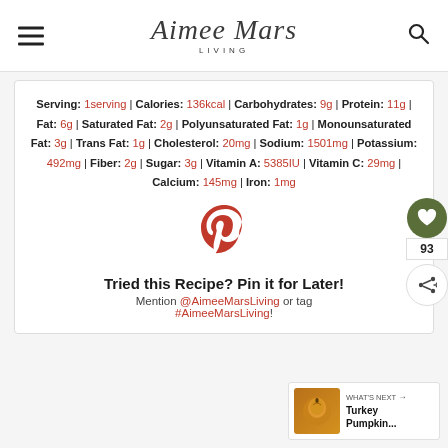Aimee Mars Living
Serving: 1serving | Calories: 136kcal | Carbohydrates: 9g | Protein: 11g | Fat: 6g | Saturated Fat: 2g | Polyunsaturated Fat: 1g | Monounsaturated Fat: 3g | Trans Fat: 1g | Cholesterol: 20mg | Sodium: 1501mg | Potassium: 492mg | Fiber: 2g | Sugar: 3g | Vitamin A: 5385IU | Vitamin C: 29mg | Calcium: 145mg | Iron: 1mg
[Figure (logo): Pinterest P logo icon in red]
Tried this Recipe? Pin it for Later! Mention @AimeeMarsLiving or tag #AimeeMarsLiving!
[Figure (photo): Turkey Pumpkin recipe thumbnail image]